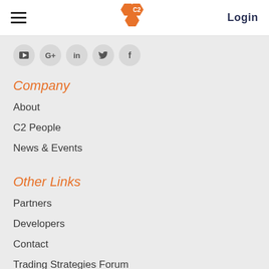Login
[Figure (logo): C2 honeycomb logo in orange with C2 text in white]
[Figure (infographic): Social media icons row: YouTube, Google+, LinkedIn, Twitter, Facebook]
Company
About
C2 People
News & Events
Other Links
Partners
Developers
Contact
Trading Strategies Forum
Blog